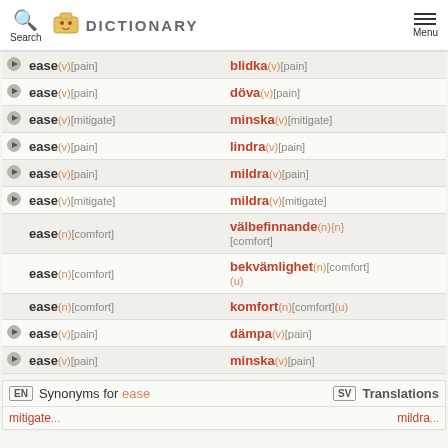Search | DICTIONARY | Menu
|  | English | Swedish |
| --- | --- | --- |
| ▶ | ease(v)[pain] | blidka(v)[pain] |
| ▶ | ease(v)[pain] | döva(v)[pain] |
| ▶ | ease(v)[mitigate] | minska(v)[mitigate] |
| ▶ | ease(v)[pain] | lindra(v)[pain] |
| ▶ | ease(v)[pain] | mildra(v)[pain] |
| ▶ | ease(v)[mitigate] | mildra(v)[mitigate] |
|  | ease(n)[comfort] | välbefinnande(n){n}[comfort] |
|  | ease(n)[comfort] | bekvämlighet(n)[comfort](u) |
|  | ease(n)[comfort] | komfort(n)[comfort](u) |
| ▶ | ease(v)[pain] | dämpa(v)[pain] |
| ▶ | ease(v)[pain] | minska(v)[pain] |
Synonyms for ease | Translations
mitigate... | mildra...